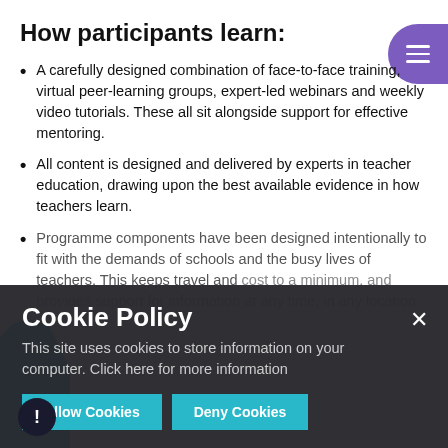How participants learn:
A carefully designed combination of face-to-face training, virtual peer-learning groups, expert-led webinars and weekly video tutorials. These all sit alongside support for effective mentoring.
All content is designed and delivered by experts in teacher education, drawing upon the best available evidence in how teachers learn.
Programme components have been designed intentionally to fit with the demands of schools and the busy lives of teachers. This keeps travel and cost to a minimum, and provides support for information at any time, in any location.
Cookie Policy
This site uses cookies to store information on your computer. Click here for more information
Allow Cookies  Deny Cookies